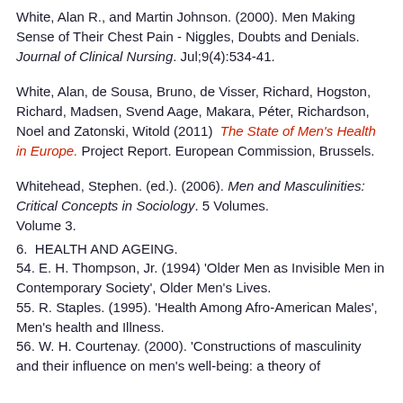White, Alan R., and Martin Johnson. (2000). Men Making Sense of Their Chest Pain - Niggles, Doubts and Denials. Journal of Clinical Nursing. Jul;9(4):534-41.
White, Alan, de Sousa, Bruno, de Visser, Richard, Hogston, Richard, Madsen, Svend Aage, Makara, Péter, Richardson, Noel and Zatonski, Witold (2011) The State of Men's Health in Europe. Project Report. European Commission, Brussels.
Whitehead, Stephen. (ed.). (2006). Men and Masculinities: Critical Concepts in Sociology. 5 Volumes. Volume 3.
6. HEALTH AND AGEING.
54. E. H. Thompson, Jr. (1994) 'Older Men as Invisible Men in Contemporary Society', Older Men's Lives.
55. R. Staples. (1995). 'Health Among Afro-American Males', Men's health and Illness.
56. W. H. Courtenay. (2000). 'Constructions of masculinity and their influence on men's well-being: a theory of